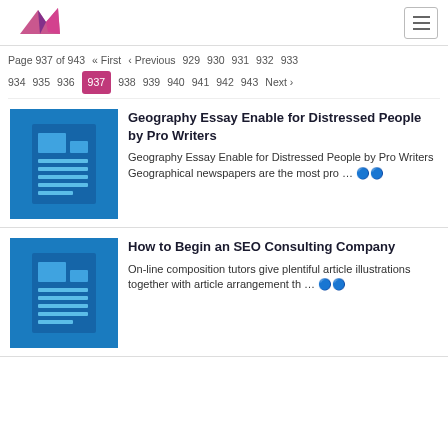Logo and navigation header
Page 937 of 943  « First  ‹ Previous  929  930  931  932  933  934  935  936  937  938  939  940  941  942  943  Next ›
Geography Essay Enable for Distressed People by Pro Writers
Geography Essay Enable for Distressed People by Pro Writers Geographical newspapers are the most pro … 👁️👁️
How to Begin an SEO Consulting Company
On-line composition tutors give plentiful article illustrations together with article arrangement th … 👁️👁️